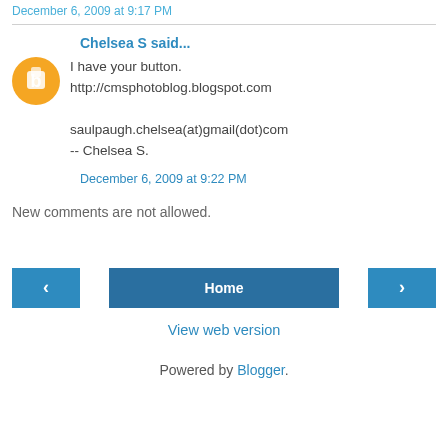December 6, 2009 at 9:17 PM
Chelsea S said...
I have your button.
http://cmsphotoblog.blogspot.com

saulpaugh.chelsea(at)gmail(dot)com
-- Chelsea S.
December 6, 2009 at 9:22 PM
New comments are not allowed.
‹  Home  ›
View web version
Powered by Blogger.